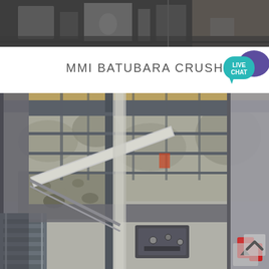[Figure (photo): Industrial machinery/crusher equipment interior photograph, dark tones with metal structures]
MMI BATUBARA CRUSHER
[Figure (illustration): Live Chat button widget, teal speech bubble with purple chat icon, text LIVE CHAT]
[Figure (photo): Mining crusher facility elevated walkway with metal railings and grid fence, rocky quarry visible below, industrial equipment and stairs visible]